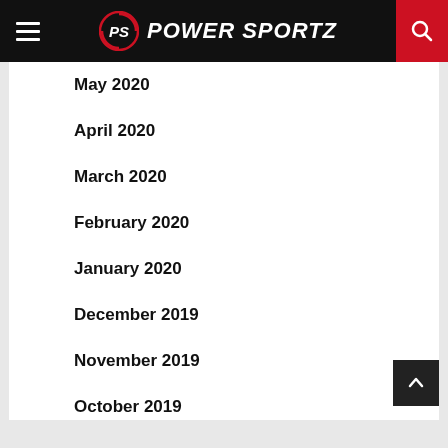PS POWER SPORTZ
May 2020
April 2020
March 2020
February 2020
January 2020
December 2019
November 2019
October 2019
September 2019
August 2019
July 2019
June 2019